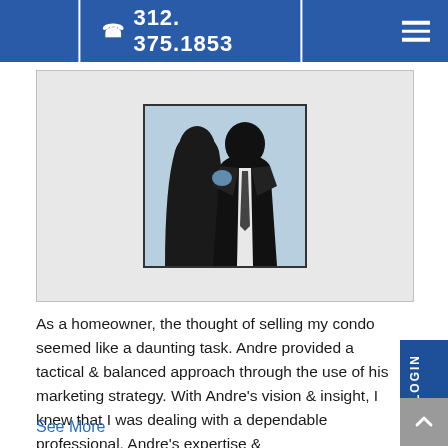312. 375.1853
[Figure (illustration): Silhouette of two people (a woman and a man in a suit with tie) on a light blue background, inside a bordered square frame, centered on a gray card area.]
As a homeowner, the thought of selling my condo seemed like a daunting task. Andre provided a tactical & balanced approach through the use of his marketing strategy. With Andre's vision & insight, I knew that I was dealing with a dependable professional. Andre's expertise &
See More